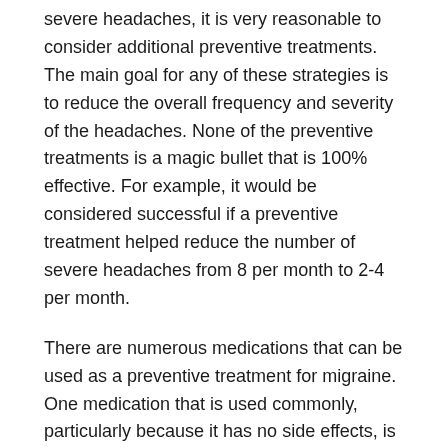severe headaches, it is very reasonable to consider additional preventive treatments. The main goal for any of these strategies is to reduce the overall frequency and severity of the headaches. None of the preventive treatments is a magic bullet that is 100% effective. For example, it would be considered successful if a preventive treatment helped reduce the number of severe headaches from 8 per month to 2-4 per month.
There are numerous medications that can be used as a preventive treatment for migraine. One medication that is used commonly, particularly because it has no side effects, is vitamin B2 . Approximately 100mg of riboflavin daily is thought to improve migraine headaches . One common side effect of riboflavin is that the urine turns bright yellow. Other herbal medications used to reduce migraine headaches include petasites and feverfew .